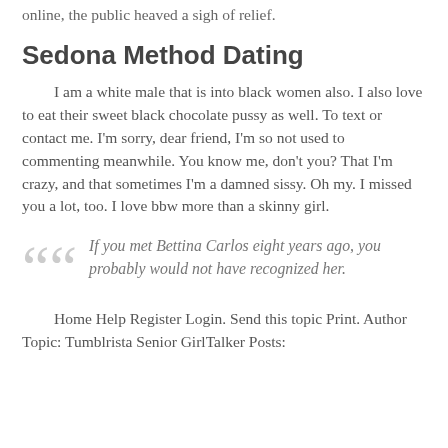online, the public heaved a sigh of relief.
Sedona Method Dating
I am a white male that is into black women also. I also love to eat their sweet black chocolate pussy as well. To text or contact me. I'm sorry, dear friend, I'm so not used to commenting meanwhile. You know me, don't you? That I'm crazy, and that sometimes I'm a damned sissy. Oh my. I missed you a lot, too. I love bbw more than a skinny girl.
If you met Bettina Carlos eight years ago, you probably would not have recognized her.
Home Help Register Login. Send this topic Print. Author Topic: Tumblrista Senior GirlTalker Posts: